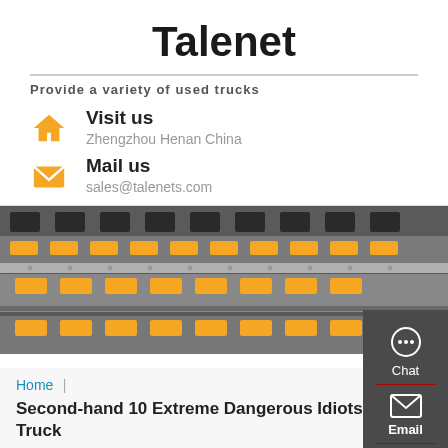Talenet
Provide a variety of used trucks
Visit us
Zhengzhou Henan China
Mail us
sales@talenets.com
[Figure (photo): Aerial view of a truck logistics yard with yellow and black trucks lined up on roads]
[Figure (infographic): Sidebar with Chat, Email, Contact, and Top navigation buttons]
Home
Second-hand 10 Extreme Dangerous Idiots Tipper Truck